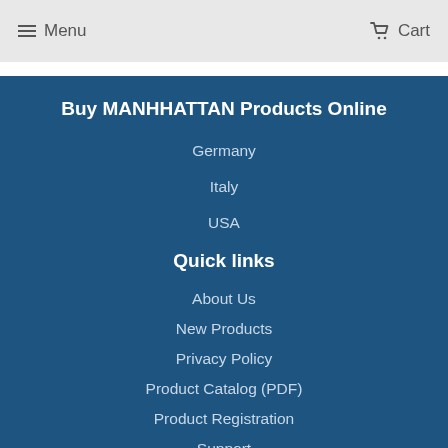Menu   Cart
Buy MANHHATTAN Products Online
Germany
Italy
USA
Quick links
About Us
New Products
Privacy Policy
Product Catalog (PDF)
Product Registration
Support